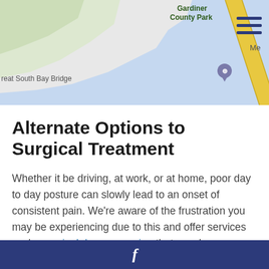[Figure (map): Partial Google Maps screenshot showing Gardiner County Park, Great South Bay Bridge, and a map pin marker. Yellow road visible. Light blue water/bay area.]
Alternate Options to Surgical Treatment
Whether it be driving, at work, or at home, poor day to day posture can slowly lead to an onset of consistent pain. We're aware of the frustration you may be experiencing due to this and offer services such as spinal decompression that may be a suitable treatment for your particular pain. Bad posture coupled with stress will only further tense up the muscles in your body and leave you in need of treatment from a medical professional. You may have
f